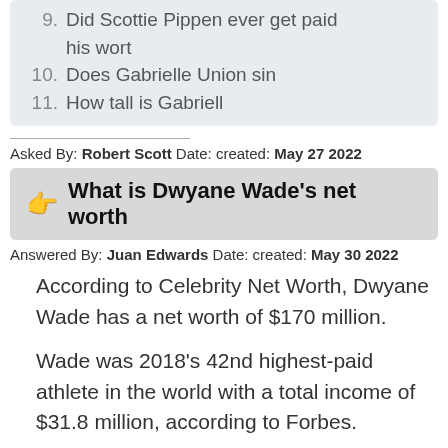9. Did Scottie Pippen ever get paid his wort
10. Does Gabrielle Union sin
11. How tall is Gabriell
Asked By: Robert Scott Date: created: May 27 2022
👉 What is Dwyane Wade's net worth
Answered By: Juan Edwards Date: created: May 30 2022
According to Celebrity Net Worth, Dwyane Wade has a net worth of $170 million.
Wade was 2018's 42nd highest-paid athlete in the world with a total income of $31.8 million, according to Forbes.